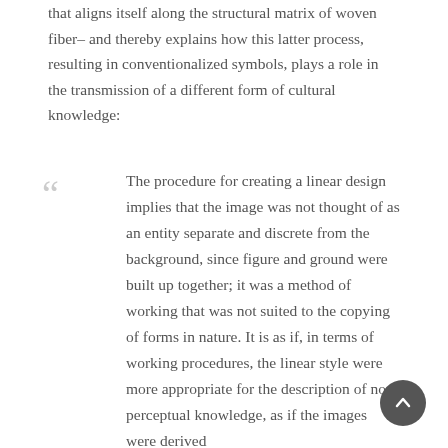that aligns itself along the structural matrix of woven fiber– and thereby explains how this latter process, resulting in conventionalized symbols, plays a role in the transmission of a different form of cultural knowledge:
The procedure for creating a linear design implies that the image was not thought of as an entity separate and discrete from the background, since figure and ground were built up together; it was a method of working that was not suited to the copying of forms in nature. It is as if, in terms of working procedures, the linear style were more appropriate for the description of non-perceptual knowledge, as if the images were derived